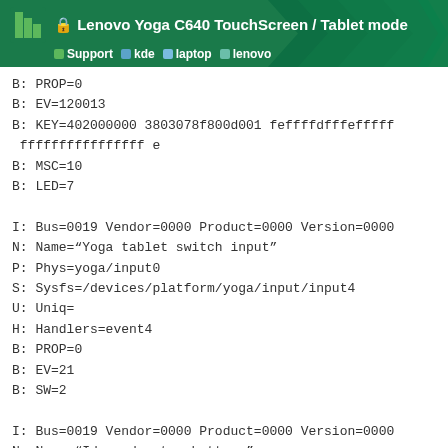🔒 Lenovo Yoga C640 TouchScreen / Tablet mode
Support  kde  laptop  lenovo
B: PROP=0
B: EV=120013
B: KEY=402000000 3803078f800d001 feffffdfffefffff ffffffffffffffff e
B: MSC=10
B: LED=7

I: Bus=0019 Vendor=0000 Product=0000 Version=0000
N: Name="Yoga tablet switch input"
P: Phys=yoga/input0
S: Sysfs=/devices/platform/yoga/input/input4
U: Uniq=
H: Handlers=event4
B: PROP=0
B: EV=21
B: SW=2

I: Bus=0019 Vendor=0000 Product=0000 Version=0000
N: Name="Ideapad extra buttons"
P: Phys=ideapad/input0
12 / 43